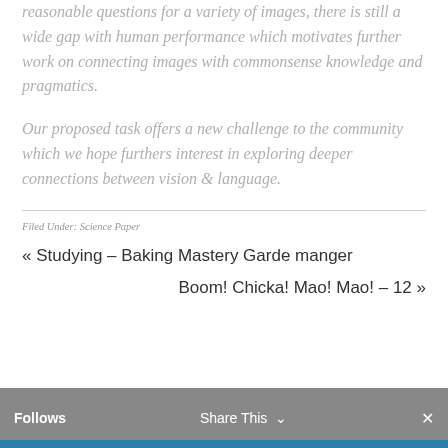reasonable questions for a variety of images, there is still a wide gap with human performance which motivates further work on connecting images with commonsense knowledge and pragmatics.
Our proposed task offers a new challenge to the community which we hope furthers interest in exploring deeper connections between vision & language.
Filed Under: Science Paper
« Studying – Baking Mastery Garde manger
Boom! Chicka! Mao! Mao! – 12 »
Follows   Share This ∨   ✕